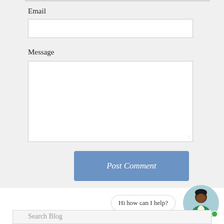Email
[Figure (screenshot): Empty email input field (white rectangle with border)]
Message
[Figure (screenshot): Empty message textarea (white rectangle with border and resize handle)]
Post Comment
Hi how can I help?
[Figure (illustration): Chat avatar: person with dark skin, black hair, green jacket, in a light blue circle with a green online indicator dot]
Search Blog